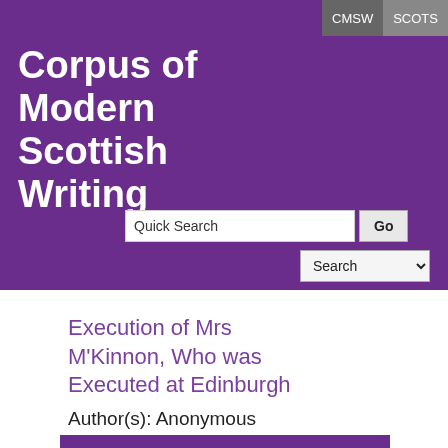CMSW  SCOTS
Corpus of Modern Scottish Writing
Quick Search  Go  Search
Execution of Mrs M'Kinnon, Who was Executed at Edinburgh
Author(s): Anonymous